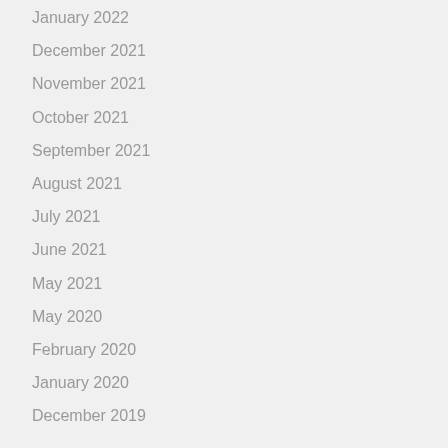January 2022
December 2021
November 2021
October 2021
September 2021
August 2021
July 2021
June 2021
May 2021
May 2020
February 2020
January 2020
December 2019